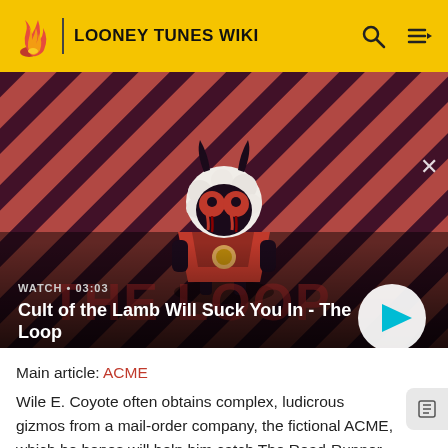LOONEY TUNES WIKI
[Figure (screenshot): Video thumbnail for 'Cult of the Lamb Will Suck You In - The Loop' showing animated lamb character on striped red and dark background with play button overlay. Duration shown: 03:03]
WATCH • 03:03
Cult of the Lamb Will Suck You In - The Loop
Main article: ACME
Wile E. Coyote often obtains complex, ludicrous gizmos from a mail-order company, the fictional ACME, which he hopes will help him catch The Road-Runner. The devices invariably fail in improbable and spectacular ways.